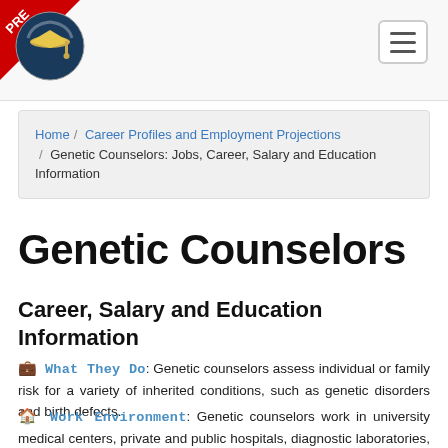PRE [logo] [hamburger menu]
Home / Career Profiles and Employment Projections / Genetic Counselors: Jobs, Career, Salary and Education Information
Genetic Counselors
Career, Salary and Education Information
What They Do: Genetic counselors assess individual or family risk for a variety of inherited conditions, such as genetic disorders and birth defects.
Work Environment: Genetic counselors work in university medical centers, private and public hospitals, diagnostic laboratories, and physicians' offices. They work with families, patients, and other medical professionals. Most genetic counselors work full-time.